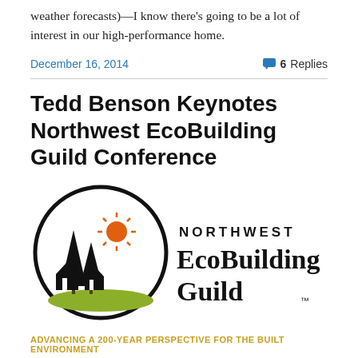weather forecasts)—I know there's going to be a lot of interest in our high-performance home.
December 16, 2014
6 Replies
Tedd Benson Keynotes Northwest EcoBuilding Guild Conference
[Figure (logo): Northwest EcoBuilding Guild logo with circular emblem showing trees, houses and sun, with text 'NORTHWEST EcoBuilding Guild™' and tagline 'ADVANCING A 200-YEAR PERSPECTIVE FOR THE BUILT ENVIRONMENT']
Green building is not a stagnant goal, but rather a rapidly-